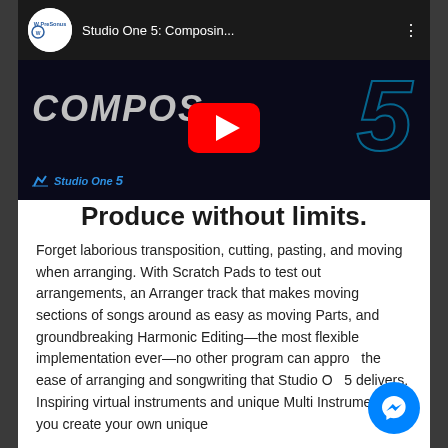[Figure (screenshot): YouTube video thumbnail for 'Studio One 5: Composin...' by PreSonus, showing 'COMPOS' text with a large glowing '5' and Studio One 5 logo on dark background, with YouTube play button overlay]
Produce without limits.
Forget laborious transposition, cutting, pasting, and moving when arranging. With Scratch Pads to test out arrangements, an Arranger track that makes moving sections of songs around as easy as moving Parts, and groundbreaking Harmonic Editing—the most flexible implementation ever—no other program can approa the ease of arranging and songwriting that Studio O 5 delivers. Inspiring virtual instruments and unique Multi Instruments let you create your own unique
[Figure (logo): Facebook Messenger blue circular chat button overlay in bottom right corner]